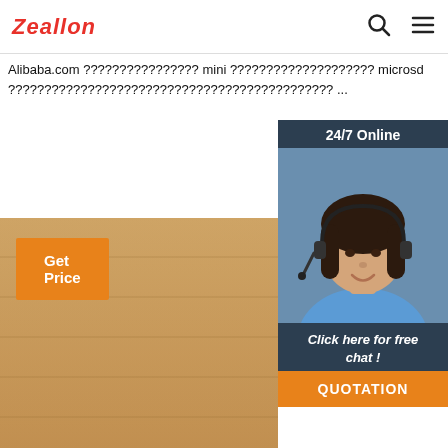Zeallon
Alibaba.com ???????????????? mini ???????????????????? microsd ????????????????????????????????????????????? ...
[Figure (screenshot): Get Price orange button]
[Figure (screenshot): 24/7 Online chat widget with agent photo and QUOTATION button]
[Figure (photo): Red TG3 portable bluetooth speaker next to a Starbucks cup on a wooden surface]